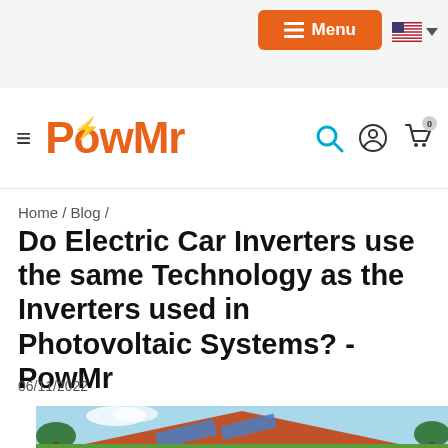Menu (navigation bar with PowMr logo, hamburger, search, account, cart icons)
Home / Blog /
Do Electric Car Inverters use the same Technology as the Inverters used in Photovoltaic Systems? - PowMr
06/11/2022
[Figure (photo): Photo of a house rooftop with solar panels installed, surrounded by green trees under a blue sky.]